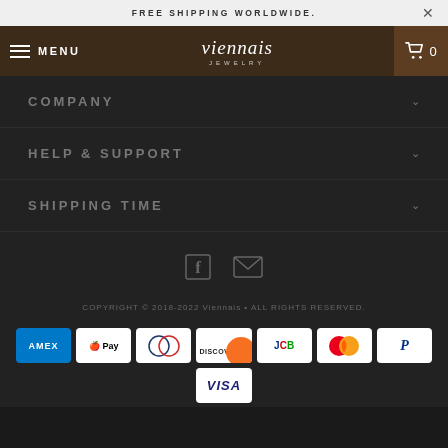FREE SHIPPING WORLDWIDE.
viennais JEWELRY — MENU — Cart 0
COMPANY
HELP & SUPPORT
SHIPPING TIME
[Figure (illustration): Facebook and email social media icons]
COPYRIGHT © 2018-2022 Viennais • ALL RIGHTS RESERVED.
[Figure (illustration): Payment method icons: AMEX, Apple Pay, Diners Club, Discover, JCB, Mastercard, PayPal, Visa]